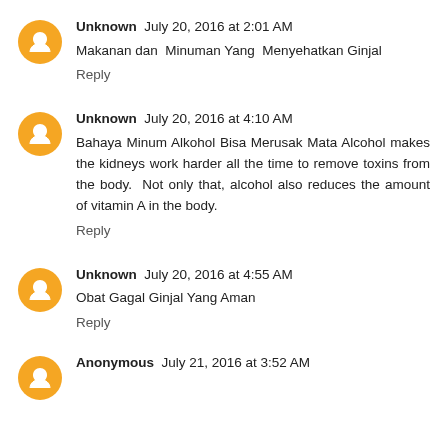Unknown  July 20, 2016 at 2:01 AM
Makanan dan  Minuman Yang  Menyehatkan Ginjal
Reply
Unknown  July 20, 2016 at 4:10 AM
Bahaya Minum Alkohol Bisa Merusak Mata Alcohol makes the kidneys work harder all the time to remove toxins from the body.  Not only that, alcohol also reduces the amount of vitamin A in the body.
Reply
Unknown  July 20, 2016 at 4:55 AM
Obat Gagal Ginjal Yang Aman
Reply
Anonymous  July 21, 2016 at 3:52 AM